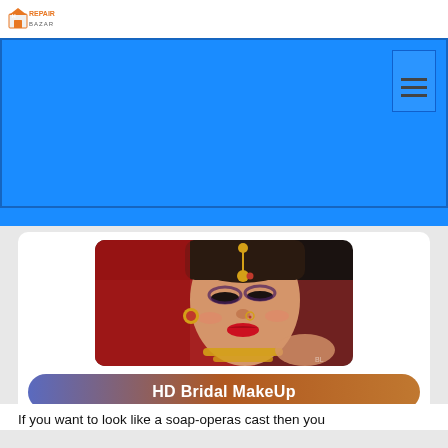Repair Bazar
[Figure (illustration): Blue banner/hero section with a hamburger menu icon in top-right corner]
[Figure (photo): Indian bride in red dupatta wearing gold jewelry including maang tikka and jhumka earrings, with heavy bridal makeup including red lipstick and eye makeup]
HD Bridal MakeUp
If you want to look like a soap-operas cast then you